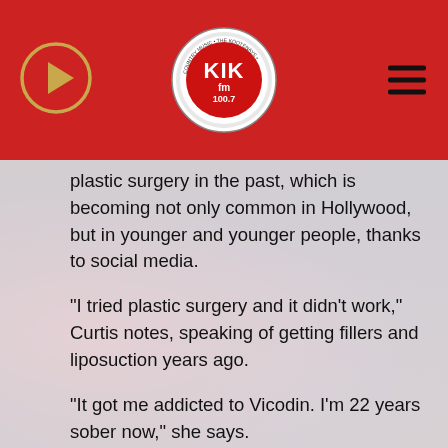[Figure (logo): KIK FM 100.7 radio station logo in circular badge with red header bar, play button icon on left, hamburger menu icon on right]
plastic surgery in the past, which is becoming not only common in Hollywood, but in younger and younger people, thanks to social media.
“I tried plastic surgery and it didn’t work,” Curtis notes, speaking of getting fillers and liposuction years ago.
“It got me addicted to Vicodin. I’m 22 years sober now,” she says.
“The current trend of fillers and procedures, and this obsession with filtering, and the things that we do to adjust our appearance on Zoom are wiping out generations of beauty,” Curtis explains.
While she’s active on Instagram, Curtis says she